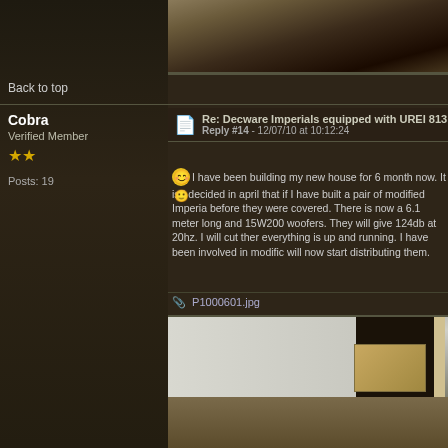[Figure (photo): Top portion of a photo showing what appears to be a studio or listening room interior with furniture visible]
Back to top
Cobra
Verified Member
★★

Posts: 19
Re: Decware Imperials equipped with UREI 813
Reply #14 - 12/07/10 at 10:12:24
I have been building my new house for 6 month now. It is I decided in april that if I have built a pair of modified Imperia before they were covered. There is now a 6.1 meter long and 15W200 woofers. They will give 124db at 20hz. I will cut ther everything is up and running. I have been involved in modific will now start distributing them.
P1000601.jpg
[Figure (photo): Photo of a room under construction showing concrete floor, white walls, an open doorway leading to a dark space, a cardboard box with coiled wire/cable on top, and wooden framing/beam on the right side]